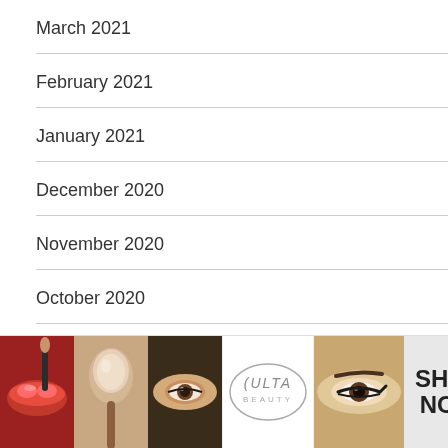March 2021
February 2021
January 2021
December 2020
November 2020
October 2020
October 2018
[Figure (illustration): Advertisement banner for Ulta Beauty with makeup photos showing lips with brush, powder brush, eye makeup, Ulta Beauty logo, eye closeup, and SHOP NOW call to action]